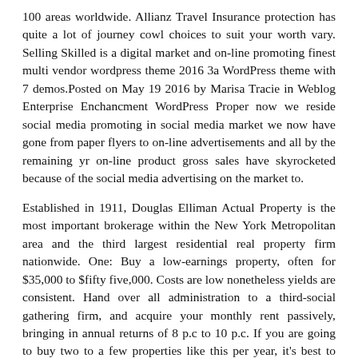100 areas worldwide. Allianz Travel Insurance protection has quite a lot of journey cowl choices to suit your worth vary. Selling Skilled is a digital market and on-line promoting finest multi vendor wordpress theme 2016 3a WordPress theme with 7 demos.Posted on May 19 2016 by Marisa Tracie in Weblog Enterprise Enchancment WordPress Proper now we reside social media promoting in social media market we now have gone from paper flyers to on-line advertisements and all by the remaining yr on-line product gross sales have skyrocketed because of the social media advertising on the market to.
Established in 1911, Douglas Elliman Actual Property is the most important brokerage within the New York Metropolitan area and the third largest residential real property firm nationwide. One: Buy a low-earnings property, often for $35,000 to $fifty five,000. Costs are low nonetheless yields are consistent. Hand over all administration to a third-social gathering firm, and acquire your monthly rent passively, bringing in annual returns of 8 p.c to 10 p.c. If you are going to buy two to a few properties like this per year, it's best to have a portfolio of 20 to 30 in a decade.
[Figure (photo): Dark/brown toned photograph, appears to show a surface or object with dark background]
Your actual estate broker